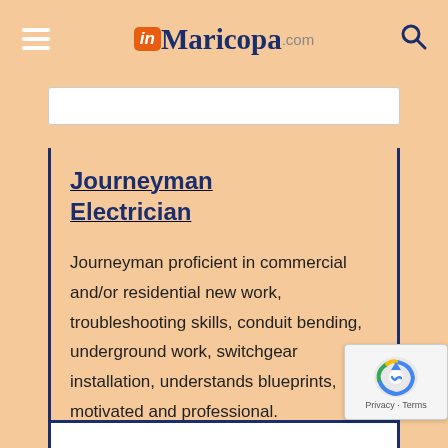inMaricopa.com
Journeyman Electrician
Journeyman proficient in commercial and/or residential new work, troubleshooting skills, conduit bending, underground work, switchgear installation, understands blueprints, motivated and professional.